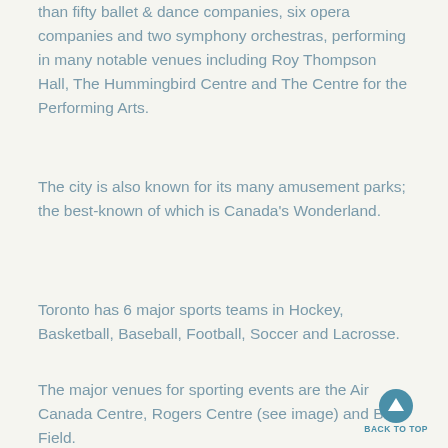than fifty ballet & dance companies, six opera companies and two symphony orchestras, performing in many notable venues including Roy Thompson Hall, The Hummingbird Centre and The Centre for the Performing Arts.
The city is also known for its many amusement parks; the best-known of which is Canada's Wonderland.
Toronto has 6 major sports teams in Hockey, Basketball, Baseball, Football, Soccer and Lacrosse.
The major venues for sporting events are the Air Canada Centre, Rogers Centre (see image) and BMO Field.